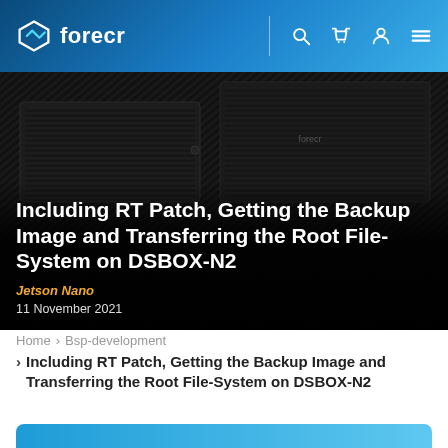forecr
[Figure (photo): Dark hardware product photo showing DSBOX-N2 embedded computer with ridged aluminum enclosure on a textured surface]
Including RT Patch, Getting the Backup Image and Transferring the Root File-System on DSBOX-N2
Jetson Nano
11 November 2021
Home > Bsp-development
> Including RT Patch, Getting the Backup Image and Transferring the Root File-System on DSBOX-N2